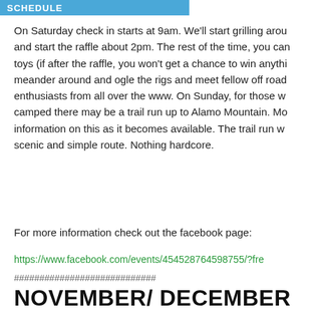SCHEDULE
On Saturday check in starts at 9am. We'll start grilling around and start the raffle about 2pm. The rest of the time, you can toys (if after the raffle, you won't get a chance to win anything meander around and ogle the rigs and meet fellow off road enthusiasts from all over the www. On Sunday, for those who camped there may be a trail run up to Alamo Mountain. More information on this as it becomes available. The trail run will be a scenic and simple route. Nothing hardcore.
For more information check out the facebook page:
https://www.facebook.com/events/454528764598755/?fre
############################
NOVEMBER/ DECEMBER SCHEDULE